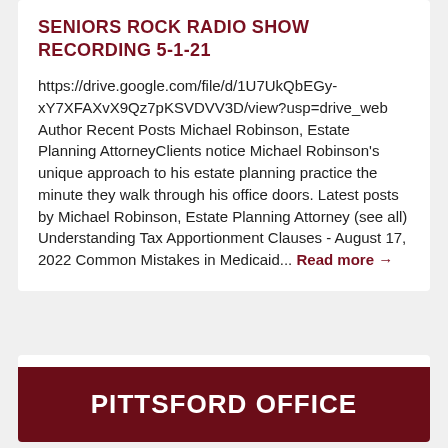SENIORS ROCK RADIO SHOW RECORDING 5-1-21
https://drive.google.com/file/d/1U7UkQbEGy-xY7XFAXvX9Qz7pKSVDVV3D/view?usp=drive_web   Author Recent Posts Michael Robinson, Estate Planning AttorneyClients notice Michael Robinson's unique approach to his estate planning practice the minute they walk through his office doors. Latest posts by Michael Robinson, Estate Planning Attorney (see all) Understanding Tax Apportionment Clauses - August 17, 2022 Common Mistakes in Medicaid... Read more →
PITTSFORD OFFICE